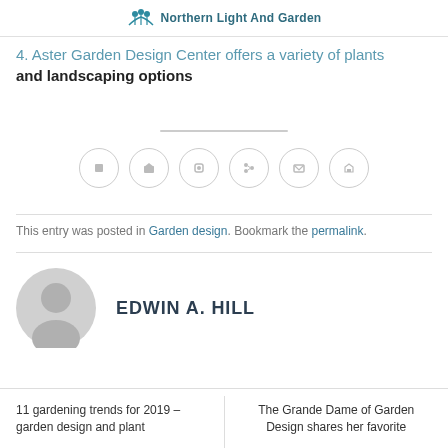Northern Light And Garden
4. Aster Garden Design Center offers a variety of plants and landscaping options
[Figure (other): Social media share icons row: six circular outline buttons with small icons inside]
This entry was posted in Garden design. Bookmark the permalink.
EDWIN A. HILL
[Figure (illustration): Grey circular avatar/user placeholder icon]
11 gardening trends for 2019 – garden design and plant
The Grande Dame of Garden Design shares her favorite